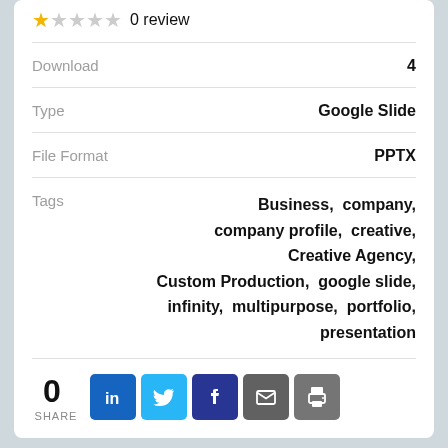★☆☆☆☆ 0 review
| Download | 4 |
| Type | Google Slide |
| File Format | PPTX |
| Tags | Business, company, company profile, creative, Creative Agency, Custom Production, google slide, infinity, multipurpose, portfolio, presentation |
0 SHARE
[Figure (other): Social share buttons: LinkedIn, Twitter, Facebook, Email, Print]